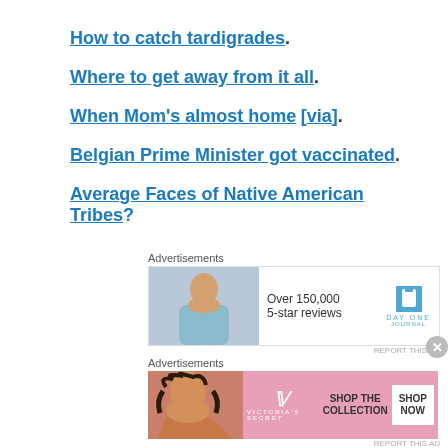How to catch tardigrades.
Where to get away from it all.
When Mom's almost home [via].
Belgian Prime Minister got vaccinated.
Average Faces of Native American Tribes?
[Figure (screenshot): Advertisement banner for Day One Journal app showing a person and '5-star reviews' text]
[Figure (screenshot): Victoria's Secret advertisement with pink background and 'SHOP THE COLLECTION / SHOP NOW' button]